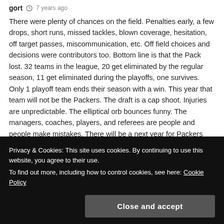gort  ⊙  7 years ago
There were plenty of chances on the field. Penalties early, a few drops, short runs, missed tackles, blown coverage, hesitation, off target passes, miscommunication, etc. Off field choices and decisions were contributors too. Bottom line is that the Pack lost. 32 teams in the league, 20 get eliminated by the regular season, 11 get eliminated during the playoffs, one survives. Only 1 playoff team ends their season with a win. This year that team will not be the Packers. The draft is a cap shoot. Injuries are unpredictable. The elliptical orb bounces funny. The managers, coaches, players, and referees are people and people make mistakes. There will be a next year for Packers fans, but not for St. Louis Rams fans. It could be
Privacy & Cookies: This site uses cookies. By continuing to use this website, you agree to their use.
To find out more, including how to control cookies, see here: Cookie Policy
Close and accept